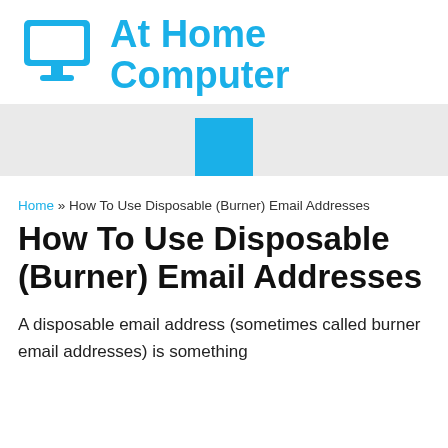[Figure (illustration): Cyan/blue desktop computer monitor icon]
At Home Computer
[Figure (other): Gray divider bar with a cyan/blue square centered at the bottom]
Home » How To Use Disposable (Burner) Email Addresses
How To Use Disposable (Burner) Email Addresses
A disposable email address (sometimes called burner email addresses) is something